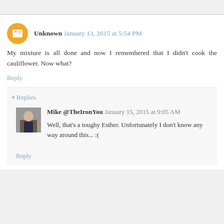Unknown January 13, 2015 at 5:54 PM
My mixture is all done and now I remembered that I didn't cook the cauliflower. Now what?
Reply
Replies
Mike @TheIronYou January 15, 2015 at 9:05 AM
Well, that's a toughy Esther. Unfortunately I don't know any way around this... :(
Reply